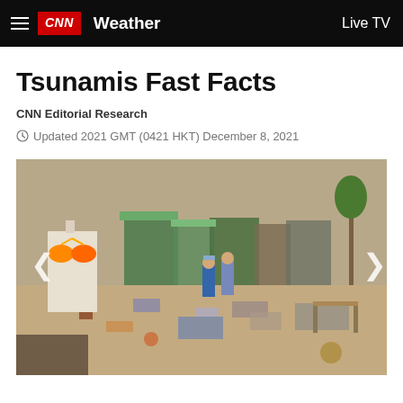CNN Weather | Live TV
Tsunamis Fast Facts
CNN Editorial Research
Updated 2021 GMT (0421 HKT) December 8, 2021
[Figure (photo): Tsunami aftermath scene: debris-strewn street with a mannequin torso in foreground wearing a bikini top, two people walking among scattered clothes and debris, damaged buildings and palm trees in background.]